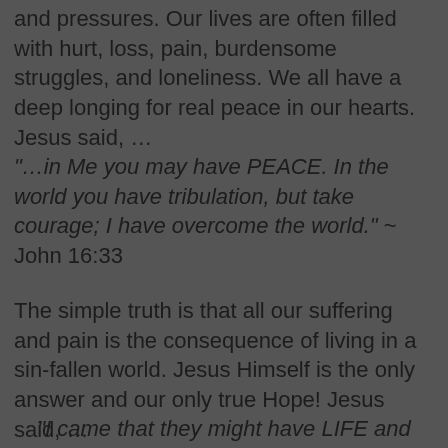and pressures. Our lives are often filled with hurt, loss, pain, burdensome struggles, and loneliness. We all have a deep longing for real peace in our hearts. Jesus said, …
“…in Me you may have PEACE. In the world you have tribulation, but take courage; I have overcome the world.” ~ John 16:33
The simple truth is that all our suffering and pain is the consequence of living in a sin-fallen world. Jesus Himself is the only answer and our only true Hope! Jesus said, …
“I came that they might have LIFE and